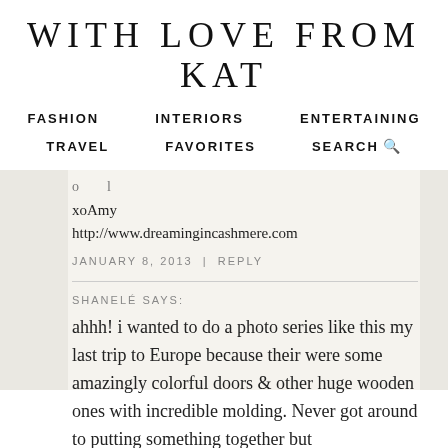WITH LOVE FROM KAT
FASHION   INTERIORS   ENTERTAINING
TRAVEL   FAVORITES   SEARCH
xoAmy
http://www.dreamingincashmere.com
JANUARY 8, 2013 | REPLY
SHANELÉ SAYS:
ahhh! i wanted to do a photo series like this my last trip to Europe because their were some amazingly colorful doors & other huge wooden ones with incredible molding. Never got around to putting something together but